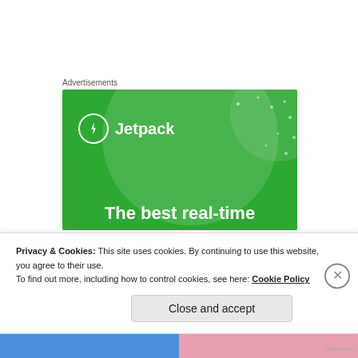Advertisements
[Figure (illustration): Jetpack advertisement banner with green background, circular decorative elements, Jetpack logo with lightning bolt icon, and partial tagline 'The best real-time']
WATT
Jul 12, 2020 at 11:19 pm
Privacy & Cookies: This site uses cookies. By continuing to use this website, you agree to their use.
To find out more, including how to control cookies, see here: Cookie Policy
Close and accept